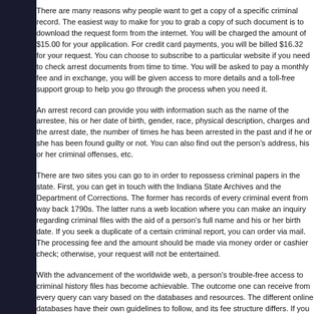There are many reasons why people want to get a copy of a specific criminal record. The easiest way to make for you to grab a copy of such document is to download the request form from the internet. You will be charged the amount of $15.00 for your application. For credit card payments, you will be billed $16.32 for your request. You can choose to subscribe to a particular website if you need to check arrest documents from time to time. You will be asked to pay a monthly fee and in exchange, you will be given access to more details and a toll-free support group to help you go through the process when you need it.
An arrest record can provide you with information such as the name of the arrestee, his or her date of birth, gender, race, physical description, charges and the arrest date, the number of times he has been arrested in the past and if he or she has been found guilty or not. You can also find out the person's address, his or her criminal offenses, etc.
There are two sites you can go to in order to repossess criminal papers in the state. First, you can get in touch with the Indiana State Archives and the Department of Corrections. The former has records of every criminal event from way back 1790s. The latter runs a web location where you can make an inquiry regarding criminal files with the aid of a person's full name and his or her birth date. If you seek a duplicate of a certain criminal report, you can order via mail. The processing fee and the amount should be made via money order or cashier check; otherwise, your request will not be entertained.
With the advancement of the worldwide web, a person's trouble-free access to criminal history files has become achievable. The outcome one can receive from every query can vary based on the databases and resources. The different online databases have their own guidelines to follow, and its fee structure differs. If you will be charged an amount for the services they offer, consider it as a value for the money you spent. Then you will be able to appreciate your money's worth.
Government or private record providers for Criminal Records? Make the right choice based on your needs. You can learn all about them by visiting our site at Arrest Records.
[Figure (other): Row of social media share/follow icon buttons: Facebook (blue), Twitter (light blue), Pinterest (red), LinkedIn (dark blue), YouTube (red), Telegram (blue), Share (green)]